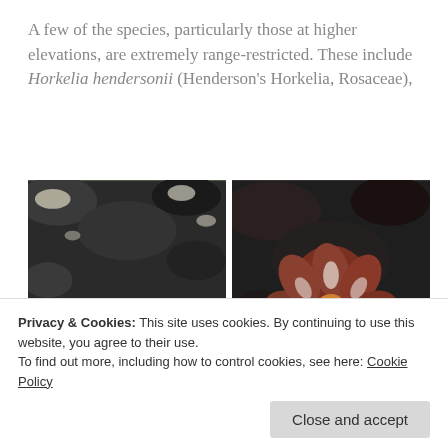A few of the species, particularly those at higher elevations, are extremely range-restricted. These include Horkelia hendersonii (Henderson's Horkelia, Rosaceae),
[Figure (photo): Two side-by-side photographs of Horkelia hendersonii plant. Left photo shows the whole plant with pinnate leaves and small flowers against a dark rocky background. Right photo shows a close-up of the flower with reddish-brown petals and white stamens against dark rock.]
Privacy & Cookies: This site uses cookies. By continuing to use this website, you agree to their use. To find out more, including how to control cookies, see here: Cookie Policy